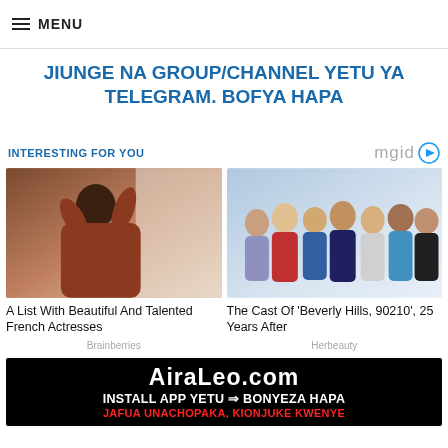≡ MENU
JIUNGE NA GROUP/CHANNEL YETU YA TELEGRAM. BOFYA HAPA
INTERESTING FOR YOU
[Figure (photo): A woman with dark hair putting her hair up, wearing a dark red top, near a window]
[Figure (photo): Group photo of the cast of Beverly Hills 90210, several young people in casual 90s clothing]
A List With Beautiful And Talented French Actresses
Brainberries
The Cast Of 'Beverly Hills, 90210', 25 Years After
Herbeauty
[Figure (infographic): Black banner with AiraLeo.com logo and text: INSTALL APP YETU => BONYEZA HAPA, with red subtext below]